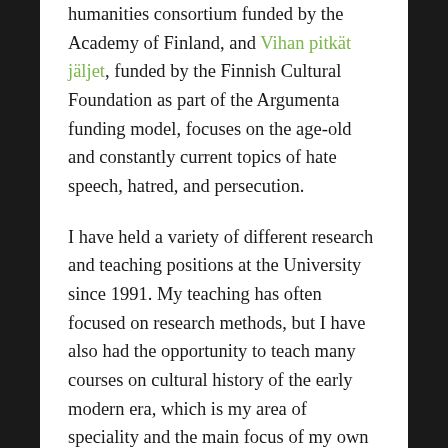humanities consortium funded by the Academy of Finland, and Vihan pitkät jäljet, funded by the Finnish Cultural Foundation as part of the Argumenta funding model, focuses on the age-old and constantly current topics of hate speech, hatred, and persecution.
I have held a variety of different research and teaching positions at the University since 1991. My teaching has often focused on research methods, but I have also had the opportunity to teach many courses on cultural history of the early modern era, which is my area of speciality and the main focus of my own research. I began my doctoral studies with a subject relating to the English reformation and the research monograph Religious Life and English Culture in the Reformation (Palgrave 2002) investigated the controversy circulating around the shutting down of monasteries during the reign of Henry VIII. My fascination with questions of corporeality and gender